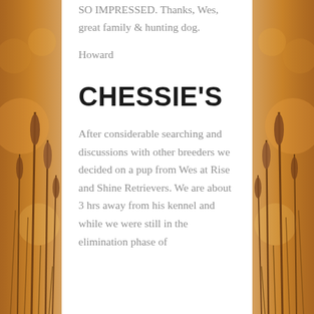SO IMPRESSED. Thanks, Wes, great family & hunting dog.
Howard
CHESSIE'S
After considerable searching and discussions with other breeders we decided on a pup from Wes at Rise and Shine Retrievers. We are about 3 hrs away from his kennel and while we were still in the elimination phase of